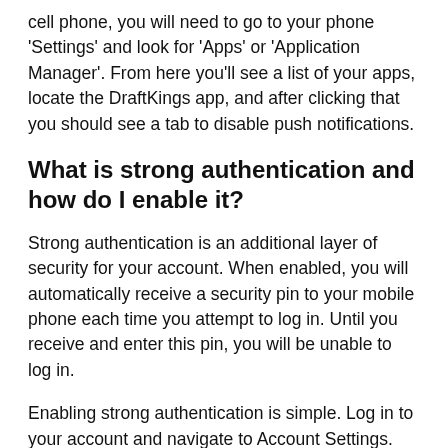cell phone, you will need to go to your phone ‘Settings’ and look for ‘Apps’ or ‘Application Manager’. From here you’ll see a list of your apps, locate the DraftKings app, and after clicking that you should see a tab to disable push notifications.
What is strong authentication and how do I enable it?
Strong authentication is an additional layer of security for your account. When enabled, you will automatically receive a security pin to your mobile phone each time you attempt to log in. Until you receive and enter this pin, you will be unable to log in.
Enabling strong authentication is simple. Log in to your account and navigate to Account Settings. Under the preferences section, you will see the ability to turn on strong authentication. Please have your mobile phone within reach as you will be asked immediately to input a pin.